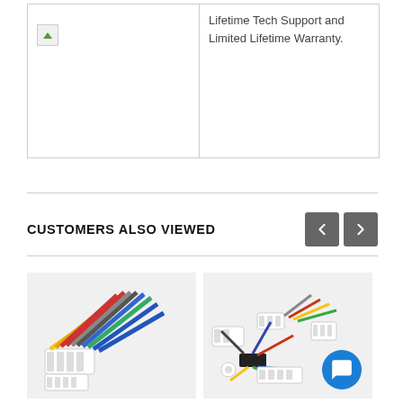Lifetime Tech Support and Limited Lifetime Warranty.
[Figure (photo): Broken image placeholder icon in top-left cell]
CUSTOMERS ALSO VIEWED
[Figure (photo): Colorful wiring harness connector with multiple colored wires on white background]
[Figure (photo): Complex automotive wiring harness with multiple connectors and colored wires on white background, with blue chat bubble overlay]